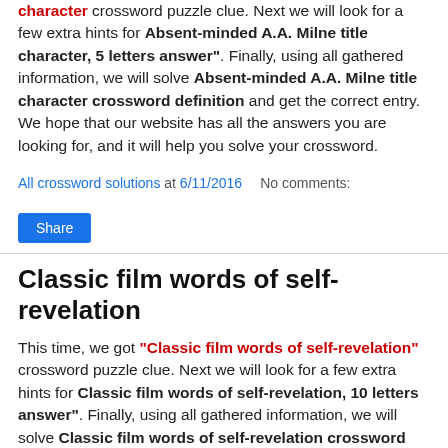character crossword puzzle clue. Next we will look for a few extra hints for Absent-minded A.A. Milne title character, 5 letters answer". Finally, using all gathered information, we will solve Absent-minded A.A. Milne title character crossword definition and get the correct entry. We hope that our website has all the answers you are looking for, and it will help you solve your crossword.
All crossword solutions at 6/11/2016    No comments:
Share
Classic film words of self-revelation
This time, we got "Classic film words of self-revelation" crossword puzzle clue. Next we will look for a few extra hints for Classic film words of self-revelation, 10 letters answer". Finally, using all gathered information, we will solve Classic film words of self-revelation crossword definition and get the correct entry. We hope that our website has all the answers you are